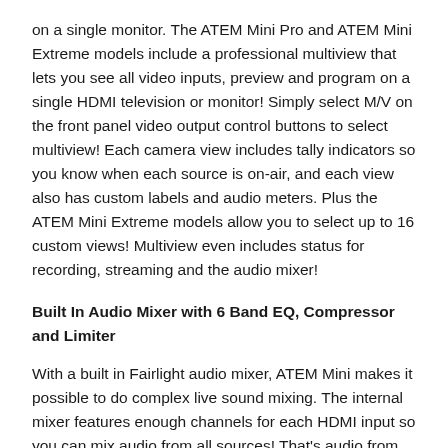on a single monitor. The ATEM Mini Pro and ATEM Mini Extreme models include a professional multiview that lets you see all video inputs, preview and program on a single HDMI television or monitor! Simply select M/V on the front panel video output control buttons to select multiview! Each camera view includes tally indicators so you know when each source is on-air, and each view also has custom labels and audio meters. Plus the ATEM Mini Extreme models allow you to select up to 16 custom views! Multiview even includes status for recording, streaming and the audio mixer!
Built In Audio Mixer with 6 Band EQ, Compressor and Limiter
With a built in Fairlight audio mixer, ATEM Mini makes it possible to do complex live sound mixing. The internal mixer features enough channels for each HDMI input so you can mix audio from all sources! That's audio from all HDMI